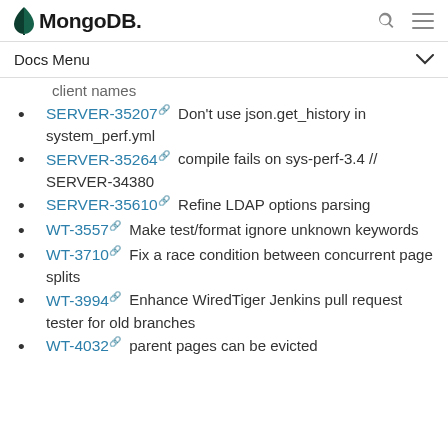MongoDB
Docs Menu
client names
SERVER-35207 Don't use json.get_history in system_perf.yml
SERVER-35264 compile fails on sys-perf-3.4 // SERVER-34380
SERVER-35610 Refine LDAP options parsing
WT-3557 Make test/format ignore unknown keywords
WT-3710 Fix a race condition between concurrent page splits
WT-3994 Enhance WiredTiger Jenkins pull request tester for old branches
WT-4032 parent pages can be evicted